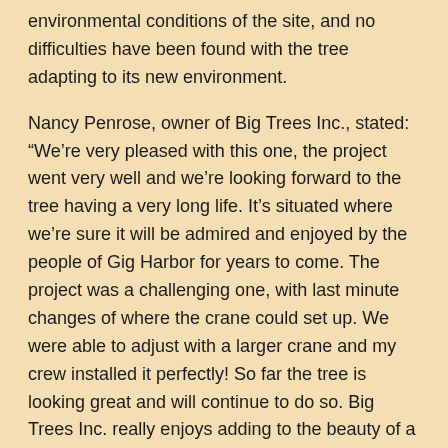environmental conditions of the site, and no difficulties have been found with the tree adapting to its new environment.
Nancy Penrose, owner of Big Trees Inc., stated: “We’re very pleased with this one, the project went very well and we’re looking forward to the tree having a very long life. It’s situated where we’re sure it will be admired and enjoyed by the people of Gig Harbor for years to come. The project was a challenging one, with last minute changes of where the crane could set up. We were able to adjust with a larger crane and my crew installed it perfectly! So far the tree is looking great and will continue to do so. Big Trees Inc. really enjoys adding to the beauty of a landscape, and we’re very happy we could do so here in Gig Harbor.”
Nancy Penrose is the owner of Big Trees Inc. (http://www.bigtreesupply.com), located in Snohomish